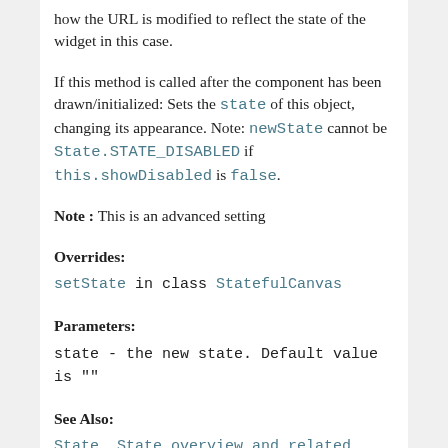how the URL is modified to reflect the state of the widget in this case.
If this method is called after the component has been drawn/initialized: Sets the state of this object, changing its appearance. Note: newState cannot be State.STATE_DISABLED if this.showDisabled is false.
Note : This is an advanced setting
Overrides:
setState in class StatefulCanvas
Parameters:
state - the new state. Default value is ""
See Also:
State, State overview and related methods